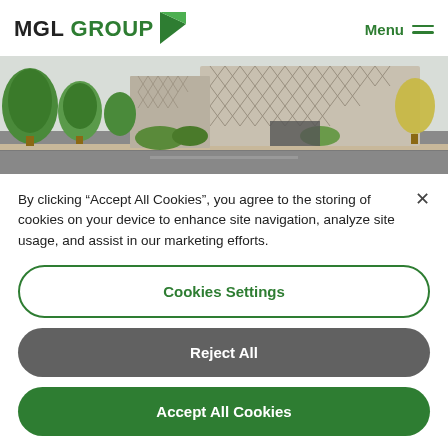[Figure (logo): MGL GROUP logo with green triangle/arrow mark]
[Figure (photo): Architectural rendering of a modern building with diamond-pattern facade surrounded by trees and landscaping]
By clicking “Accept All Cookies”, you agree to the storing of cookies on your device to enhance site navigation, analyze site usage, and assist in our marketing efforts.
[Figure (other): Close (X) button for cookie banner]
[Figure (other): Cookies Settings button (outlined green)]
[Figure (other): Reject All button (dark grey)]
[Figure (other): Accept All Cookies button (solid green)]